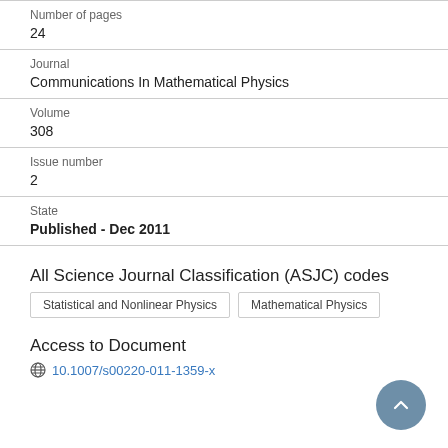Number of pages
24
Journal
Communications In Mathematical Physics
Volume
308
Issue number
2
State
Published - Dec 2011
All Science Journal Classification (ASJC) codes
Statistical and Nonlinear Physics
Mathematical Physics
Access to Document
10.1007/s00220-011-1359-x